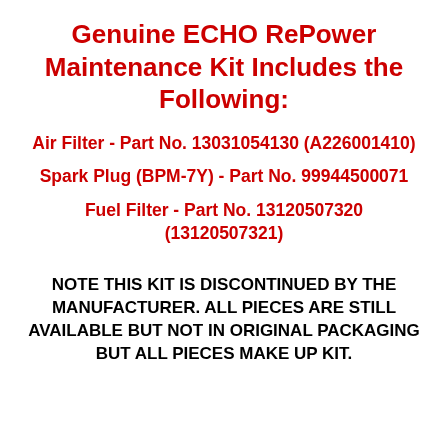Genuine ECHO RePower Maintenance Kit Includes the Following:
Air Filter - Part No. 13031054130 (A226001410)
Spark Plug (BPM-7Y) - Part No. 99944500071
Fuel Filter - Part No. 13120507320 (13120507321)
NOTE THIS KIT IS DISCONTINUED BY THE MANUFACTURER. ALL PIECES ARE STILL AVAILABLE BUT NOT IN ORIGINAL PACKAGING BUT ALL PIECES MAKE UP KIT.